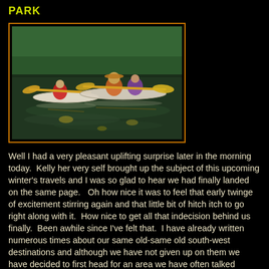PARK
[Figure (photo): Three people kayaking on a calm, green-reflecting lake. They are paddling in two kayaks, with yellow paddles, surrounded by reflections of trees on the water.]
Well I had a very pleasant uplifting surprise later in the morning today.  Kelly her very self brought up the subject of this upcoming winter's travels and I was so glad to hear we had finally landed on the same page.   Oh how nice it was to feel that early twinge of excitement stirring again and that little bit of hitch itch to go right along with it.  How nice to get all that indecision behind us finally.  Been awhile since I've felt that.  I have already written numerous times about our same old-same old south-west destinations and although we have not given up on them we have decided to first head for an area we have often talked about, an area we have never been before and where many other RV'ers have travelled